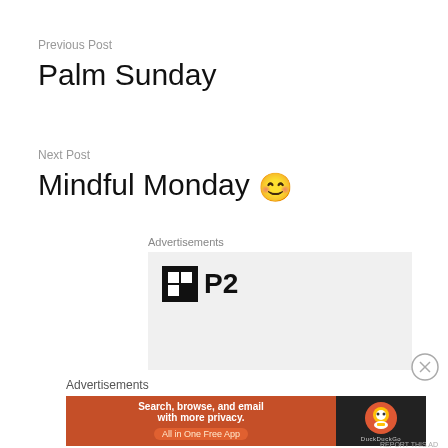Previous Post
Palm Sunday
Next Post
Mindful Monday 😊
Advertisements
[Figure (logo): P2 logo with black square icon and P2 text on grey background]
Advertisements
[Figure (screenshot): DuckDuckGo advertisement banner: Search, browse, and email with more privacy. All in One Free App]
REPORT THIS AD